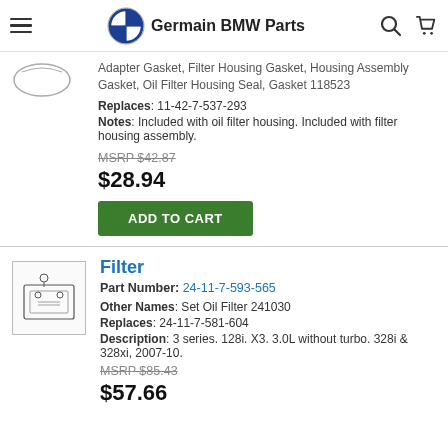Germain BMW Parts
Adapter Gasket, Filter Housing Gasket, Housing Assembly Gasket, Oil Filter Housing Seal, Gasket 118523
Replaces: 11-42-7-537-293
Notes: Included with oil filter housing. Included with filter housing assembly.
MSRP $42.87
$28.94
ADD TO CART
Filter
Part Number: 24-11-7-593-565
Other Names: Set Oil Filter 241030
Replaces: 24-11-7-581-604
Description: 3 series. 128i. X3. 3.0L without turbo. 328i & 328xi, 2007-10.
MSRP $85.43
$57.66